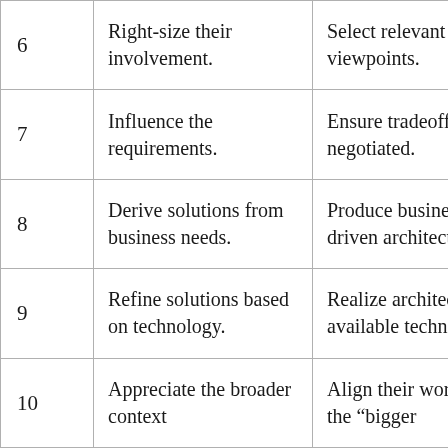| 6 | Right-size their involvement. | Select relevant viewpoints. |
| 7 | Influence the requirements. | Ensure tradeoffs are negotiated. |
| 8 | Derive solutions from business needs. | Produce business-driven architectures. |
| 9 | Refine solutions based on technology. | Realize architectures in available technology. |
| 10 | Appreciate the broader context | Align their work with the “bigger |